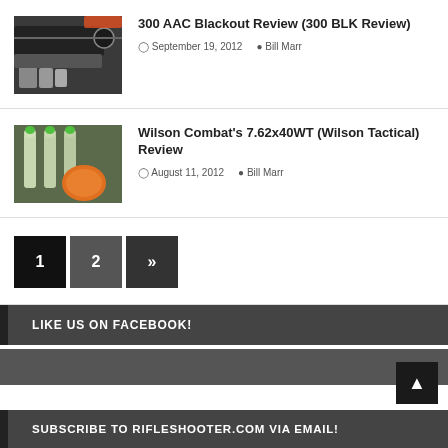[Figure (photo): Photo of a rifle/firearm with ammunition]
300 AAC Blackout Review (300 BLK Review)
September 19, 2012   Bill Marr
[Figure (photo): Photo of bullets/projectiles with orange tip]
Wilson Combat's 7.62x40WT (Wilson Tactical) Review
August 11, 2012   Bill Marr
1  2  »
LIKE US ON FACEBOOK!
SUBSCRIBE TO RIFLESHOOTER.COM VIA EMAIL!